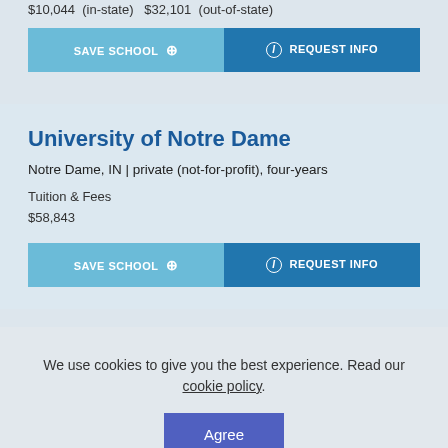$10,044  (in-state)  $32,101  (out-of-state)
SAVE SCHOOL + REQUEST INFO
University of Notre Dame
Notre Dame, IN | private (not-for-profit), four-years
Tuition & Fees
$58,843
SAVE SCHOOL + REQUEST INFO
We use cookies to give you the best experience. Read our cookie policy.
Agree